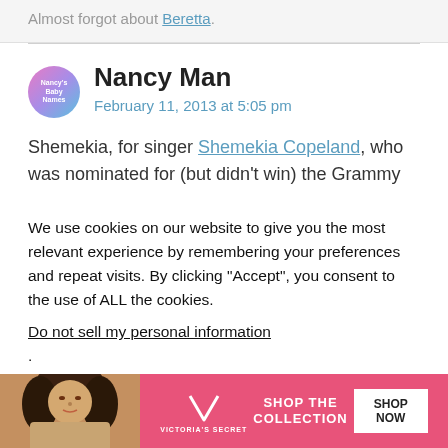Almost forgot about Beretta.
Nancy Man
February 11, 2013 at 5:05 pm
Shemekia, for singer Shemekia Copeland, who was nominated for (but didn't win) the Grammy
We use cookies on our website to give you the most relevant experience by remembering your preferences and repeat visits. By clicking "Accept", you consent to the use of ALL the cookies.
Do not sell my personal information.
[Figure (photo): Victoria's Secret advertisement banner with model, VS logo, SHOP THE COLLECTION text, and SHOP NOW button]
CLOSE